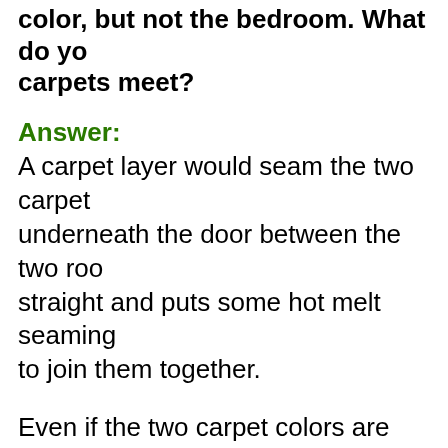color, but not the bedroom. What do you carpets meet?
Answer:
A carpet layer would seam the two carpet underneath the door between the two roo straight and puts some hot melt seaming to join them together.
Even if the two carpet colors are very diffe look bad, it is very common to have differe colors throughout the home.